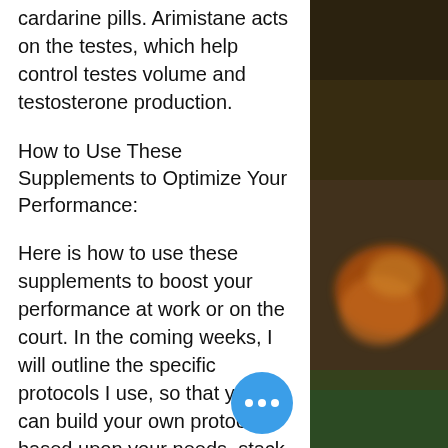cardarine pills. Arimistane acts on the testes, which help control testes volume and testosterone production.
How to Use These Supplements to Optimize Your Performance:
Here is how to use these supplements to boost your performance at work or on the court. In the coming weeks, I will outline the specific protocols I use, so that you can build your own protocols based upon your needs, stack prohormone sarms.
Winstrol vermodje
Winstrol stacks well with Anavar, and Dianabol, but mainly bodybuilders use winstrol with Testosterone propionate, Testosterone enanthate, or with the combination of Testosterone and Dianabol.
[Figure (photo): Blurred photo on the right side of the page showing dark brownish/green background with orange element, possibly fruit or decorative object]